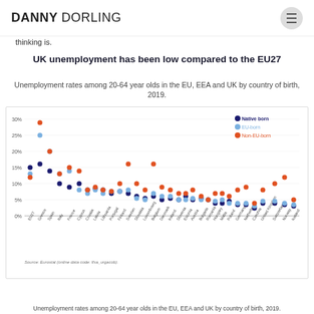DANNY DORLING
thinking is.
UK unemployment has been low compared to the EU27
Unemployment rates among 20-64 year olds in the EU, EEA and UK by country of birth, 2019.
[Figure (scatter-plot): UK unemployment has been low compared to the EU27]
Unemployment rates among 20-64 year olds in the EU, EEA and UK by country of birth, 2019.